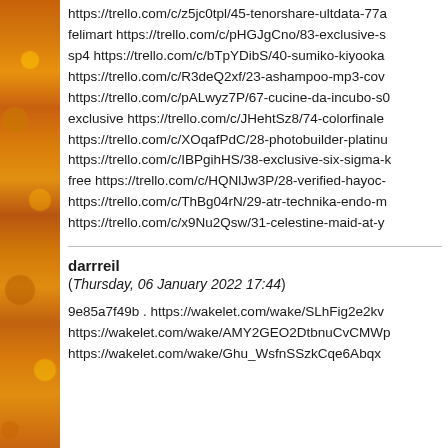https://trello.com/c/z5jc0tpl/45-tenorshare-ultdata-77...
felimart https://trello.com/c/pHGJgCno/83-exclusive-s...
sp4 https://trello.com/c/bTpYDibS/40-sumiko-kiyooka...
https://trello.com/c/R3deQ2xf/23-ashampoo-mp3-cov...
https://trello.com/c/pALwyz7P/67-cucine-da-incubo-s0...
exclusive https://trello.com/c/JHehtSz8/74-colorfinale...
https://trello.com/c/XOqafPdC/28-photobuilder-platinu...
https://trello.com/c/IBPgihHS/38-exclusive-six-sigma-k...
free https://trello.com/c/HQNlJw3P/28-verified-hayoc-...
https://trello.com/c/ThBg04rN/29-atr-technika-endo-m...
https://trello.com/c/x9Nu2Qsw/31-celestine-maid-at-y...
darrreil
(Thursday, 06 January 2022 17:44)
9e85a7f49b . https://wakelet.com/wake/SLhFig2e2kv...
https://wakelet.com/wake/AMY2GEO2DtbnuCvCMWp...
https://wakelet.com/wake/Ghu_WsfnSSzkCqe6Abqx...